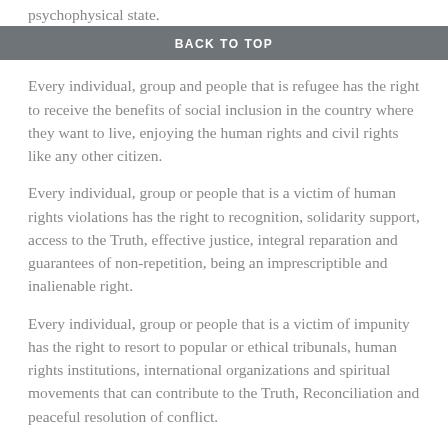psychophysical state.
BACK TO TOP
Every individual, group and people that is refugee has the right to receive the benefits of social inclusion in the country where they want to live, enjoying the human rights and civil rights like any other citizen.
Every individual, group or people that is a victim of human rights violations has the right to recognition, solidarity support, access to the Truth, effective justice, integral reparation and guarantees of non-repetition, being an imprescriptible and inalienable right.
Every individual, group or people that is a victim of impunity has the right to resort to popular or ethical tribunals, human rights institutions, international organizations and spiritual movements that can contribute to the Truth, Reconciliation and peaceful resolution of conflict.